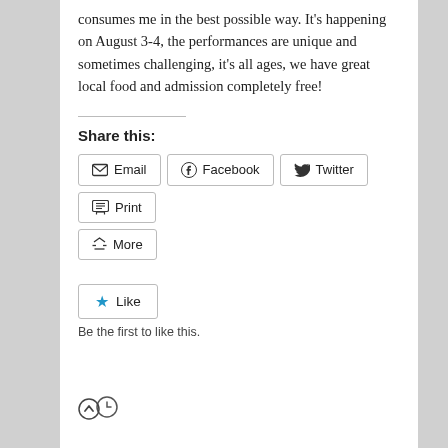consumes me in the best possible way. It's happening on August 3-4, the performances are unique and sometimes challenging, it's all ages, we have great local food and admission completely free!
Share this:
Email  Facebook  Twitter  Print  More
Like  Be the first to like this.